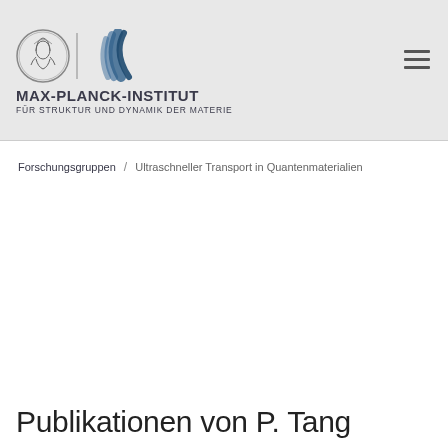[Figure (logo): Max-Planck-Institut für Struktur und Dynamik der Materie logo with Minerva coin and wave mark]
MAX-PLANCK-INSTITUT FÜR STRUKTUR UND DYNAMIK DER MATERIE
Forschungsgruppen / Ultraschneller Transport in Quantenmaterialien
Publikationen von P. Tang